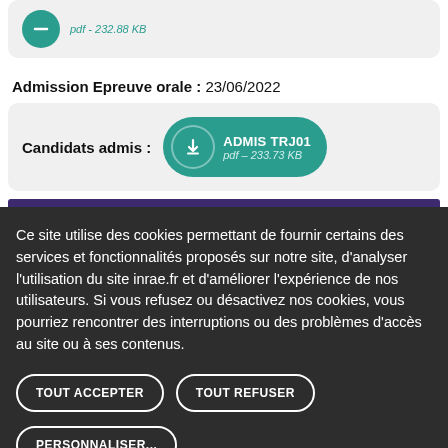[Figure (screenshot): Partially visible download card showing teal circle icon with download arrow and file info: pdf - 232.88 KB]
Admission Epreuve orale : 23/06/2022
[Figure (screenshot): Download card for ADMIS TRJ01 showing teal download button with pdf - 233.73 KB, labelled Candidats admis:]
Ce site utilise des cookies permettant de fournir certains des services et fonctionnalités proposés sur notre site, d'analyser l'utilisation du site inrae.fr et d'améliorer l'expérience de nos utilisateurs. Si vous refusez ou désactivez nos cookies, vous pourriez rencontrer des interruptions ou des problèmes d'accès au site ou à ses contenus.
TOUT ACCEPTER
TOUT REFUSER
PERSONNALISER...